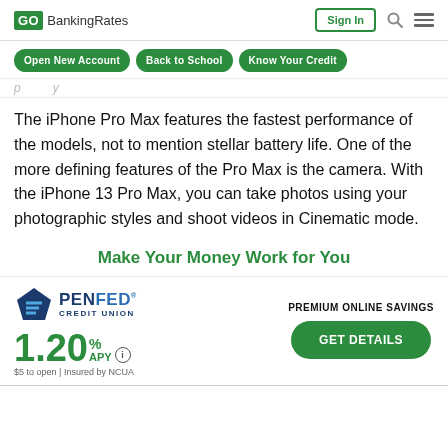GOBankingRates | Sign In
Open New Account | Back to School | Know Your Credit
The iPhone Pro Max features the fastest performance of the models, not to mention stellar battery life. One of the more defining features of the Pro Max is the camera. With the iPhone 13 Pro Max, you can take photos using your photographic styles and shoot videos in Cinematic mode.
Make Your Money Work for You
[Figure (infographic): PenFed Credit Union advertisement showing 1.20% APY Premium Online Savings with a Get Details button]